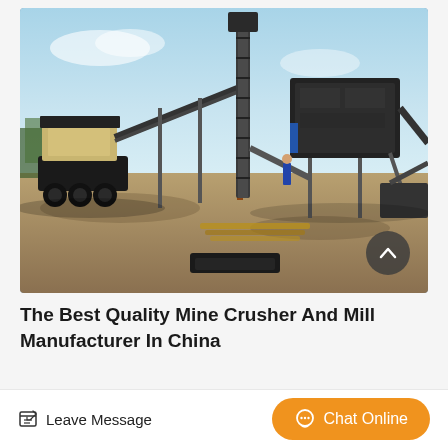[Figure (photo): Outdoor mining crusher and mill equipment setup — heavy industrial machinery including mobile crusher units on truck chassis, conveyor belts, and screening equipment on a dusty open-air construction/mining site under a blue sky.]
The Best Quality Mine Crusher And Mill Manufacturer In China
Leave Message
Chat Online